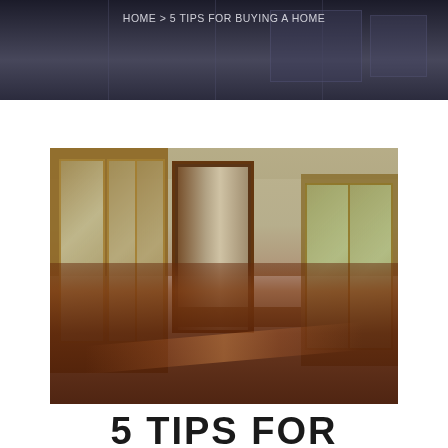HOME > 5 TIPS FOR BUYING A HOME
[Figure (photo): Interior of an empty home with polished hardwood floors, yellow-painted walls, framed glass front doors on the left, an open doorway in the center leading to another room, and French doors on the right side.]
5 TIPS FOR